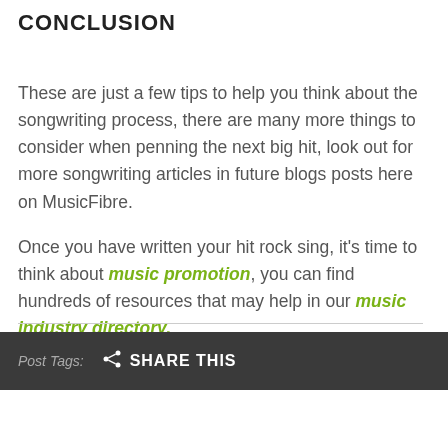CONCLUSION
These are just a few tips to help you think about the songwriting process, there are many more things to consider when penning the next big hit, look out for more songwriting articles in future blogs posts here on MusicFibre.
Once you have written your hit rock sing, it's time to think about music promotion, you can find hundreds of resources that may help in our music industry directory.
Post Tags:  SHARE THIS